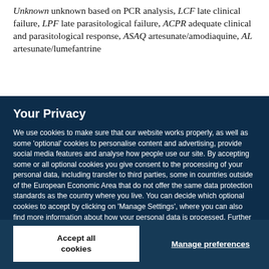Unknown unknown based on PCR analysis, LCF late clinical failure, LPF late parasitological failure, ACPR adequate clinical and parasitological response, ASAQ artesunate/amodiaquine, AL artesunate/lumefantrine
Your Privacy
We use cookies to make sure that our website works properly, as well as some 'optional' cookies to personalise content and advertising, provide social media features and analyse how people use our site. By accepting some or all optional cookies you give consent to the processing of your personal data, including transfer to third parties, some in countries outside of the European Economic Area that do not offer the same data protection standards as the country where you live. You can decide which optional cookies to accept by clicking on 'Manage Settings', where you can also find more information about how your personal data is processed. Further information can be found in our privacy policy.
Accept all cookies
Manage preferences